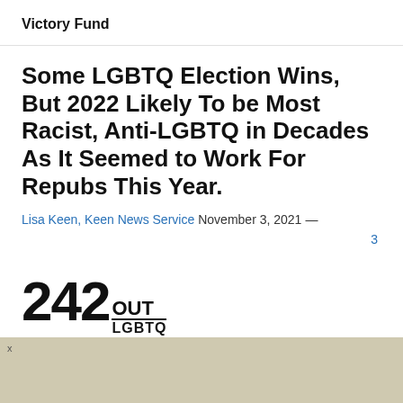Victory Fund
Some LGBTQ Election Wins, But 2022 Likely To be Most Racist, Anti-LGBTQ in Decades As It Seemed to Work For Repubs This Year.
Lisa Keen, Keen News Service November 3, 2021 — 3
[Figure (logo): 242 OUT LGBTQ logo in bold black text]
[Figure (other): Tan/beige advertisement area with an x close button]